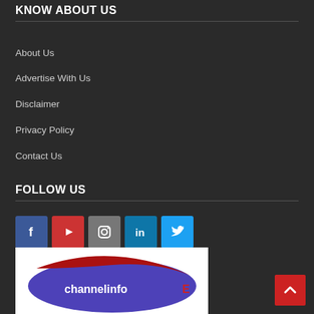KNOW ABOUT US
About Us
Advertise With Us
Disclaimer
Privacy Policy
Contact Us
FOLLOW US
[Figure (infographic): Social media icons row: Facebook (blue), YouTube (red), Instagram (gray), LinkedIn (teal-blue), Twitter (light blue)]
[Figure (logo): Channel Info or similar logo with blue/purple and red swoosh design on white background, partially visible]